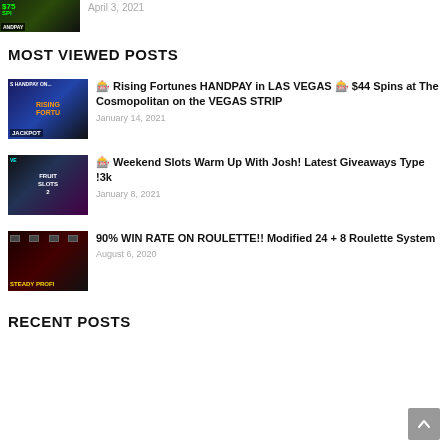[Figure (screenshot): Thumbnail image of a handpay/slot video with text $75, SPI, HANDPAY overlay]
April 3, 2021
MOST VIEWED POSTS
[Figure (screenshot): Thumbnail image with 'S HANDPAY ON...' text, Rising Fortunes slot game, JACKPOT label]
🎰 Rising Fortunes HANDPAY in LAS VEGAS 🎰 $44 Spins at The Cosmopolitan on the VEGAS STRIP
January 14, 2021
[Figure (screenshot): Thumbnail image of Fruit Slots 2 game with colorful slot characters, VE label top left]
🎰 Weekend Slots Warm Up With Josh! Latest Giveaways Type !3k
January 8, 2021
[Figure (screenshot): Thumbnail image of roulette table with STEADY PROFIT text overlay]
90% WIN RATE ON ROULETTE!! Modified 24 + 8 Roulette System
August 6, 2020
RECENT POSTS